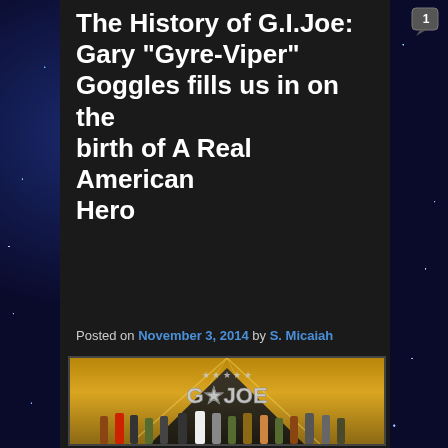The History of G.I.Joe: Gary "Gyre-Viper" Goggles fills us in on the birth of A Real American Hero
Posted on November 3, 2014 by S. Micaiah
[Figure (photo): GI Joe promotional artwork showing multiple action figures/characters standing in front of a large GI Joe logo on a pyramid-like structure, with a golden/orange sky background with light rays]